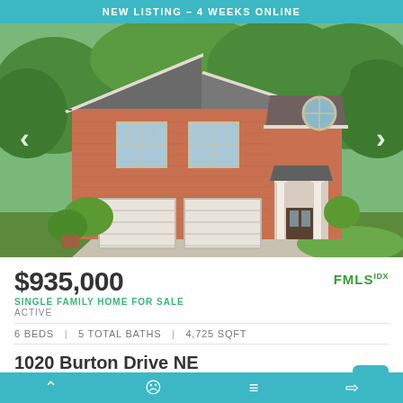NEW LISTING – 4 WEEKS ONLINE
[Figure (photo): Exterior photo of a two-story brick residential home with double garage doors, white-framed windows, columned entryway, and surrounding green trees and landscaping. Navigation arrows visible on left and right sides.]
$935,000
[Figure (logo): FMLS IDX logo in green]
SINGLE FAMILY HOME FOR SALE
ACTIVE
6 BEDS | 5 TOTAL BATHS | 4,725 SQFT
1020 Burton Drive NE
Atlanta, GA 30329
Biltmore Estates Subdivision